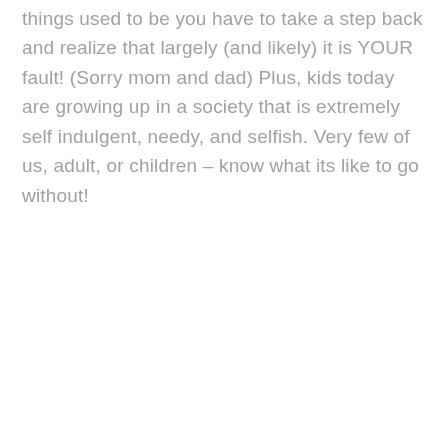things used to be you have to take a step back and realize that largely (and likely) it is YOUR fault! (Sorry mom and dad) Plus, kids today are growing up in a society that is extremely self indulgent, needy, and selfish. Very few of us, adult, or children – know what its like to go without!